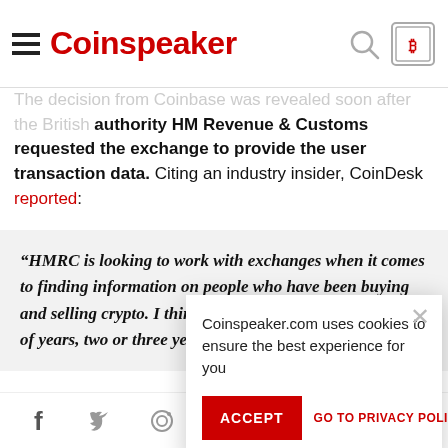Coinspeaker
The decision from Coinbase was revealed soon after the British authority HM Revenue & Customs requested the exchange to provide the user transaction data. Citing an industry insider, CoinDesk reported:
“HMRC is looking to work with exchanges when it comes to finding information on people who have been buying and selling crypto. I think they will only go back a couple of years, two or three years”.
Upon reaching out t... confirmed that such ... and ambit. The agen...
“These exchan... and the transa... transactions may result in potential charges... HMRC has the power to issue notices requiring exchanges
Social icons: Facebook, Twitter, Instagram, Telegram, Reddit, LinkedIn, Share